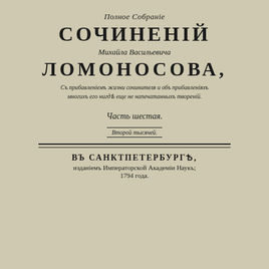Полное Собрание
СОЧИНЕНIЙ
Михайла Васильевича
ЛОМОНОСОВА,
Съ прибавленiемъ жизни сочинителя и объ прибавленiяхъ многихъ его нигде еще не напечатанныхъ твореній.
Часть шестая.
Второй тысячей.
ВЪ САНКТПЕТЕРБУРГЪ,
изданiемъ Императорской Академiи Наукъ;
1794 года.